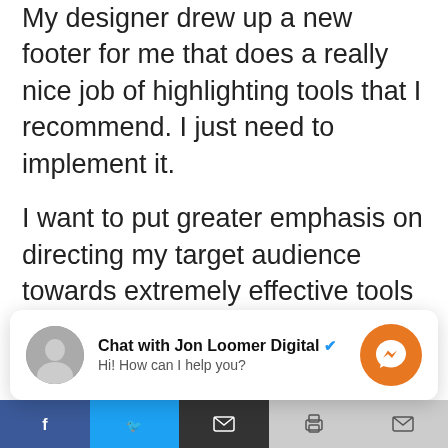My designer drew up a new footer for me that does a really nice job of highlighting tools that I recommend. I just need to implement it.
I want to put greater emphasis on directing my target audience towards extremely effective tools that I use that help with my Facebook marketing. The focuses will be in the following areas:
Facebook Ads Tools (like Perfect Audience and AdRoll)
[Figure (screenshot): Chat widget overlay showing 'Chat with Jon Loomer Digital' with a verified checkmark, message 'Hi! How can I help you?', profile avatar photo, and orange Messenger icon button]
[Figure (screenshot): Social share bar at bottom with Facebook (blue), Twitter (blue), email (dark), print (gray), and mail (gray) buttons]